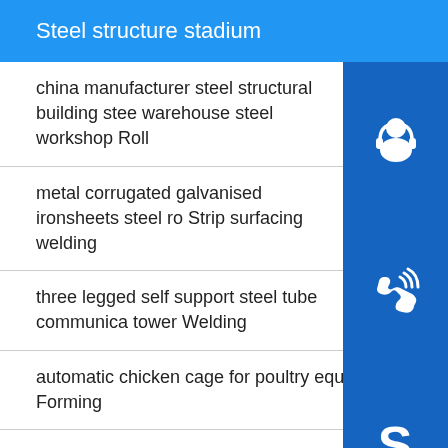Steel structure stadium
china manufacturer steel structural building steel warehouse steel workshop Roll
metal corrugated galvanised ironsheets steel ro Strip surfacing welding
three legged self support steel tube communication tower Welding
automatic chicken cage for poultry equipment Forming
steel structure building house workshop warehouse vil Submerged arc welding